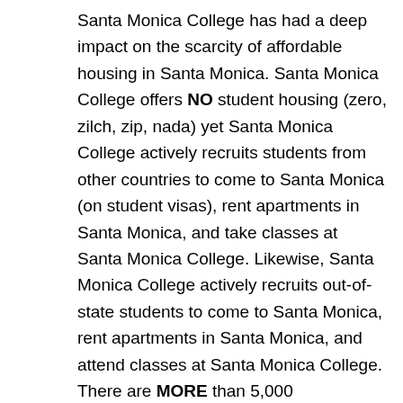Santa Monica College has had a deep impact on the scarcity of affordable housing in Santa Monica. Santa Monica College offers NO student housing (zero, zilch, zip, nada) yet Santa Monica College actively recruits students from other countries to come to Santa Monica (on student visas), rent apartments in Santa Monica, and take classes at Santa Monica College. Likewise, Santa Monica College actively recruits out-of-state students to come to Santa Monica, rent apartments in Santa Monica, and attend classes at Santa Monica College. There are MORE than 5,000 international and out-of-state students currently attending Santa Monica College, and they ALL have to live somewhere! Everyone I know in Santa Monica knows of a foreign or out-